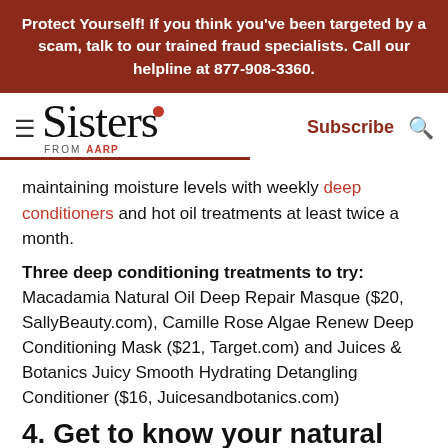Protect Yourself! If you think you've been targeted by a scam, talk to our trained fraud specialists. Call our helpline at 877-908-3360.
[Figure (logo): Sisters from AARP logo with hamburger menu, Subscribe link and search icon navigation bar]
maintaining moisture levels with weekly deep conditioners and hot oil treatments at least twice a month.
Three deep conditioning treatments to try: Macadamia Natural Oil Deep Repair Masque ($20, SallyBeauty.com), Camille Rose Algae Renew Deep Conditioning Mask ($21, Target.com) and Juices & Botanics Juicy Smooth Hydrating Detangling Conditioner ($16, Juicesandbotanics.com)
4. Get to know your natural